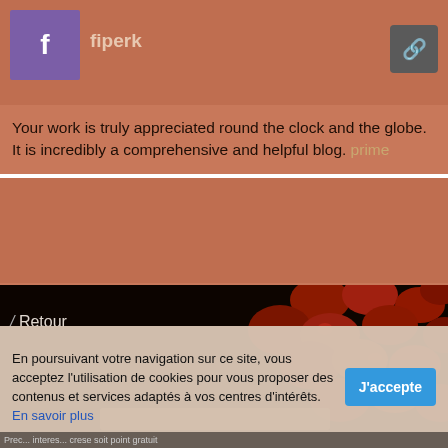fiperk
Your work is truly appreciated round the clock and the globe. It is incredibly a comprehensive and helpful blog. prime
Shahjohn409
I found your this post while searching for some related information on blog search...Its a good post..keep posting and update the information. เล็กเล็กน้อย
Liens sponsorisés
/ Retour
En poursuivant votre navigation sur ce site, vous acceptez l'utilisation de cookies pour vous proposer des contenus et services adaptés à vos centres d'intérêts. En savoir plus
J'accepte
Prec... interes... crese soit point gratuit